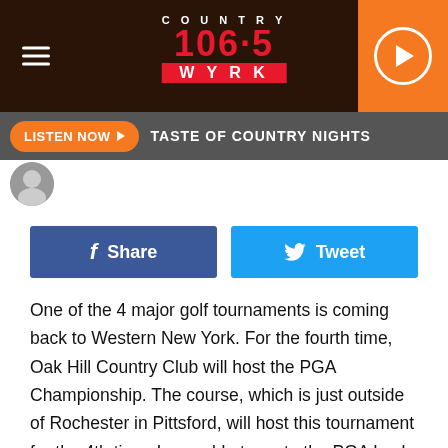[Figure (logo): Country 106.5 WYRK radio station logo with hamburger menu and play button on dark brown textured background]
LISTEN NOW ▶  TASTE OF COUNTRY NIGHTS
[Figure (photo): Small circular avatar/profile photo thumbnail]
[Figure (other): Social share buttons: Facebook Share and Twitter Tweet]
One of the 4 major golf tournaments is coming back to Western New York. For the fourth time, Oak Hill Country Club will host the PGA Championship. The course, which is just outside of Rochester in Pittsford, will host this tournament for the 4th time. I was able to go to the PGA back in 2013 and it really is a great experience. We had to park far away and we got shuttled in by PGA busses. In addition, my advice is you really need to prepare yourself for a long day. Snacks, make sure you are hydrated and have enough sun protection